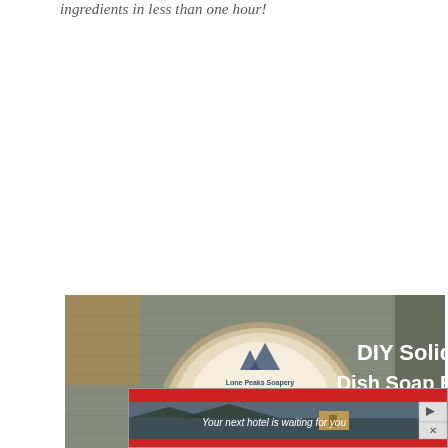ingredients in less than one hour!
[Figure (photo): Photo of a round DIY solid kitchen dish soap bar from Lone Peaks Soapery sitting on a textured cloth surface, with text overlay reading 'DIY Solid Dish Soap Bar']
[Figure (photo): Advertisement banner with red background reading 'Your next hotel is waiting for you' with a hotel photo and navigation controls]